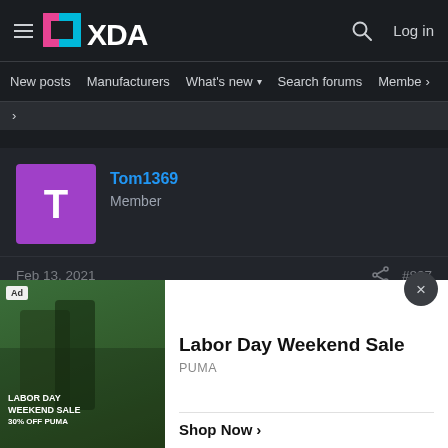XDA (logo) | search | Log in | New posts | Manufacturers | What's new | Search forums | Membe >
[Figure (screenshot): XDA Developers forum page showing user Tom1369 with Member role, post dated Feb 13, 2021 with #887 post ID, a quoted reply from falciatrice10, and an overlaid advertisement for PUMA Labor Day Weekend Sale]
Tom1369
Member
Feb 13, 2021
#887
falciatrice10 said:
Ad | Labor Day Weekend Sale
PUMA
Shop Now >